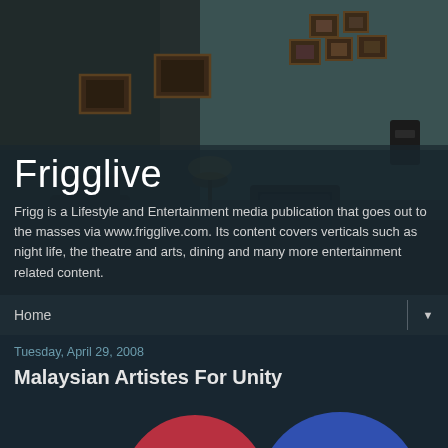[Figure (screenshot): Dark moody interior room scene with framed pictures on wall, old TV, lamp, and telephone. Serves as website header background image for Frigglive.]
Frigglive
Frigg is a Lifestyle and Entertainment media publication that goes out to the masses via www.frigglive.com. Its content covers verticals such as night life, the theatre and arts, dining and many more entertainment related content.
Home ▼
Tuesday, April 29, 2008
Malaysian Artistes For Unity
[Figure (illustration): Partial view of red and blue teardrop/person silhouette shapes at bottom of page, likely logo or article image for Malaysian Artistes For Unity.]